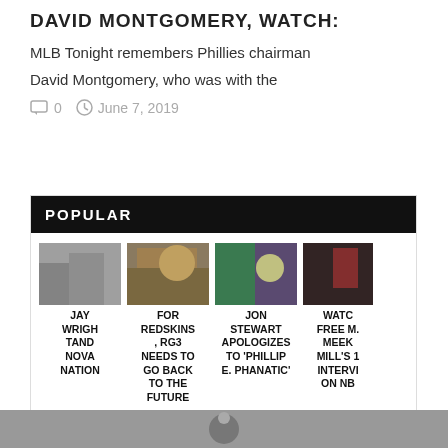DAVID MONTGOMERY, WATCH:
MLB Tonight remembers Phillies chairman David Montgomery, who was with the
0   June 7, 2019
POPULAR
[Figure (photo): Jay Wright and Nova Nation - sports photo]
JAY WRIGHT AND NOVA NATION
[Figure (photo): For Redskins, RG3 Needs to Go Back to the Future - football action photo]
FOR REDSKINS, RG3 NEEDS TO GO BACK TO THE FUTURE
[Figure (photo): Jon Stewart Apologizes to 'Phillipe. Phanatic' - talk show photo]
JON STEWART APOLOGIZES TO 'PHILLIP E. PHANATIC'
[Figure (photo): Watch: Free Meek Mill's interview on NB - partially visible]
WATCH FREE MEEK MILL'S INTERVI ON NB
[Figure (photo): Bottom strip image partially visible]